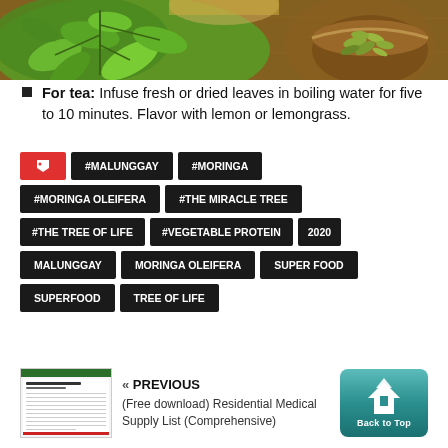[Figure (photo): Photo of moringa/malunggay green leaves on left and dried leaves in a wooden bowl on right, on a wooden surface background]
For tea: Infuse fresh or dried leaves in boiling water for five to 10 minutes. Flavor with lemon or lemongrass.
#MALUNGGAY  #MORINGA  #MORINGA OLEIFERA  #THE MIRACLE TREE  #THE TREE OF LIFE  #VEGETABLE PROTEIN  2020  MALUNGGAY  MORINGA OLEIFERA  SUPER FOOD  SUPERFOOD  TREE OF LIFE
[Figure (photo): Thumbnail image of a spreadsheet document for Residential Medical Supply List]
« PREVIOUS
(Free download) Residential Medical Supply List (Comprehensive)